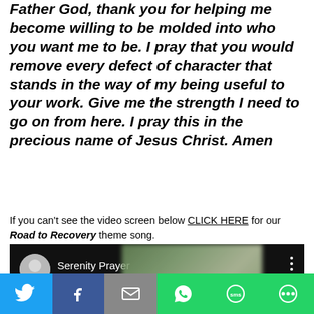Father God, thank you for helping me become willing to be molded into who you want me to be. I pray that you would remove every defect of character that stands in the way of my being useful to your work. Give me the strength I need to go on from here. I pray this in the precious name of Jesus Christ. Amen
If you can't see the video screen below CLICK HERE for our Road to Recovery theme song.
[Figure (screenshot): YouTube-style video player showing 'Serenity Prayer' with a circular avatar thumbnail on the left, title text, three-dot menu, and a blurred nature thumbnail]
[Figure (infographic): Social sharing bar with Twitter, Facebook, Email, WhatsApp, SMS, and a share button icons]